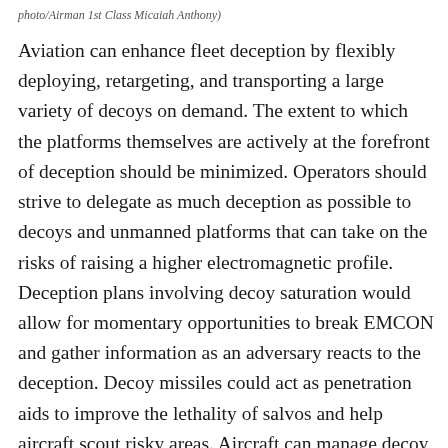photo/Airman 1st Class Micaiah Anthony)
Aviation can enhance fleet deception by flexibly deploying, retargeting, and transporting a large variety of decoys on demand. The extent to which the platforms themselves are actively at the forefront of deception should be minimized. Operators should strive to delegate as much deception as possible to decoys and unmanned platforms that can take on the risks of raising a higher electromagnetic profile. Deception plans involving decoy saturation would allow for momentary opportunities to break EMCON and gather information as an adversary reacts to the deception. Decoy missiles could act as penetration aids to improve the lethality of salvos and help aircraft scout risky areas. Aircraft can manage decoy missile datalinks in-flight to maximize their usefulness.